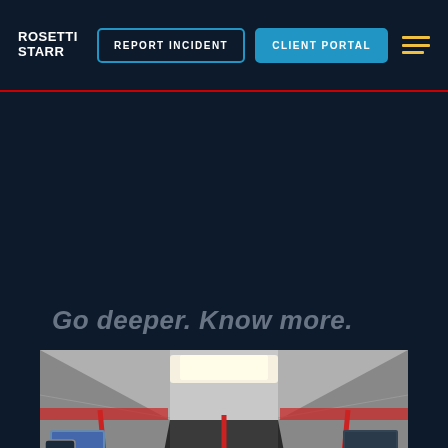ROSETTI STARR | REPORT INCIDENT | CLIENT PORTAL
Go deeper. Know more.
[Figure (photo): Interior of a subway/metro train car showing passengers seated and standing, with red vertical poles, overhead lighting, and advertisements on the walls. The perspective is from one end of the car looking down the length of the carriage.]